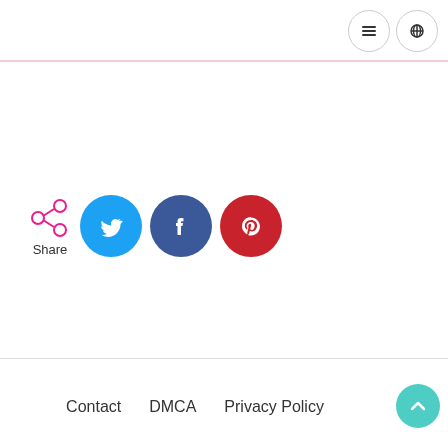[Menu icon] [Search icon]
[Figure (infographic): Social share buttons: share icon with label 'Share', Twitter (blue circle with bird), Facebook (dark blue circle with f), Pinterest (red circle with p)]
Contact   DMCA   Privacy Policy